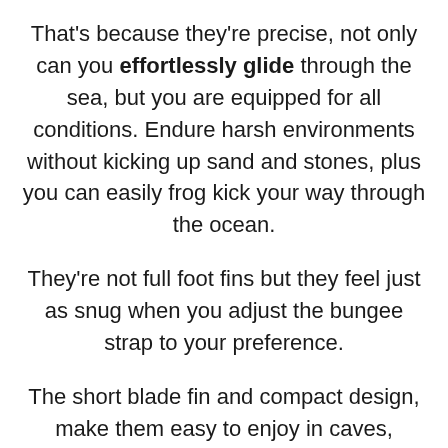That's because they're precise, not only can you effortlessly glide through the sea, but you are equipped for all conditions. Endure harsh environments without kicking up sand and stones, plus you can easily frog kick your way through the ocean.
They're not full foot fins but they feel just as snug when you adjust the bungee strap to your preference.
The short blade fin and compact design, make them easy to enjoy in caves, wrecks